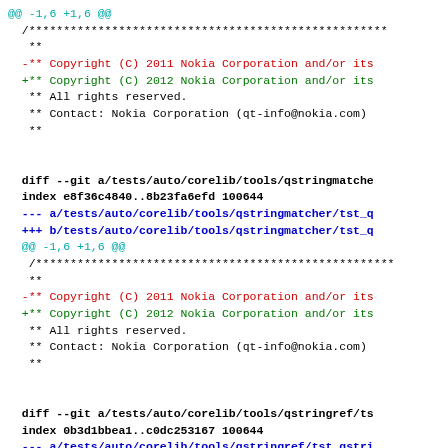diff output showing copyright year change from 2011 to 2012 across multiple Qt test files including qstringmatcher and qstringref
@@ -1,6 +1,6 @@
 /***...
  **
 -** Copyright (C) 2011 Nokia Corporation and/or its
 +** Copyright (C) 2012 Nokia Corporation and/or its
  ** All rights reserved.
  ** Contact: Nokia Corporation (qt-info@nokia.com)
  **

diff --git a/tests/auto/corelib/tools/qstringmatche
index e8f36c4840..8b23fa6efd 100644
--- a/tests/auto/corelib/tools/qstringmatcher/tst_q
+++ b/tests/auto/corelib/tools/qstringmatcher/tst_q
@@ -1,6 +1,6 @@
 /***...
  **
 -** Copyright (C) 2011 Nokia Corporation and/or its
 +** Copyright (C) 2012 Nokia Corporation and/or its
  ** All rights reserved.
  ** Contact: Nokia Corporation (qt-info@nokia.com)
  **

diff --git a/tests/auto/corelib/tools/qstringref/ts
index 0b3d1bbea1..c0dc253167 100644
--- a/tests/auto/corelib/tools/qstringref/tst_qstri
+++ b/tests/auto/corelib/tools/qstringref/tst_qstri
@@ -1,6 +1,6 @@
 /***...
  **
 -** Copyright (C) 2011 Nokia Corporation and/or its